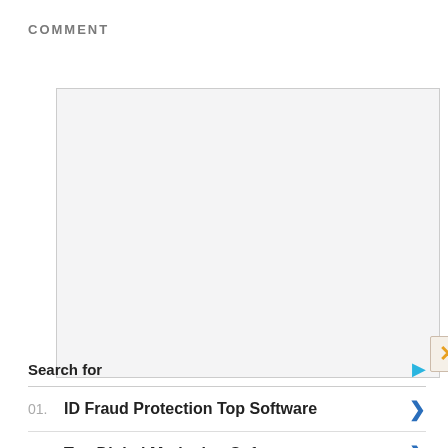COMMENT
[Figure (screenshot): Empty comment text area input box with light gray background and border, with a resize handle in the bottom right corner and an X close button overlapping the bottom-right corner]
Search for
01. ID Fraud Protection Top Software
02. Top Digital Marketing Software
Yahoo! Search | Sponsored